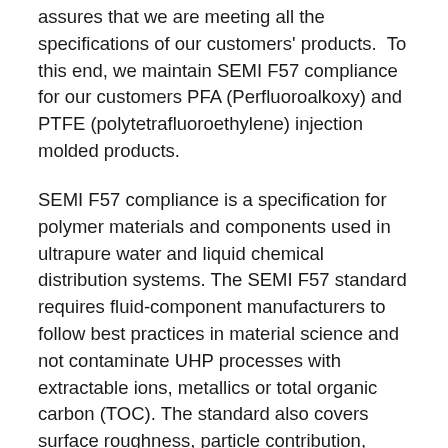assures that we are meeting all the specifications of our customers' products.  To this end, we maintain SEMI F57 compliance for our customers PFA (Perfluoroalkoxy) and PTFE (polytetrafluoroethylene) injection molded products.
SEMI F57 compliance is a specification for polymer materials and components used in ultrapure water and liquid chemical distribution systems. The SEMI F57 standard requires fluid-component manufacturers to follow best practices in material science and not contaminate UHP processes with extractable ions, metallics or total organic carbon (TOC). The standard also covers surface roughness, particle contribution, metallic contamination, and reliability testing.